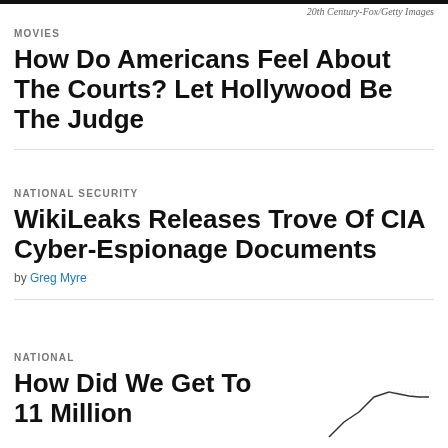20th Century-Fox/Getty Images
MOVIES
How Do Americans Feel About The Courts? Let Hollywood Be The Judge
NATIONAL SECURITY
WikiLeaks Releases Trove Of CIA Cyber-Espionage Documents
by Greg Myre
NATIONAL
How Did We Get To 11 Million
[Figure (line-chart): Partial line chart visible at bottom right of page, appears to show data trending upward then leveling off]